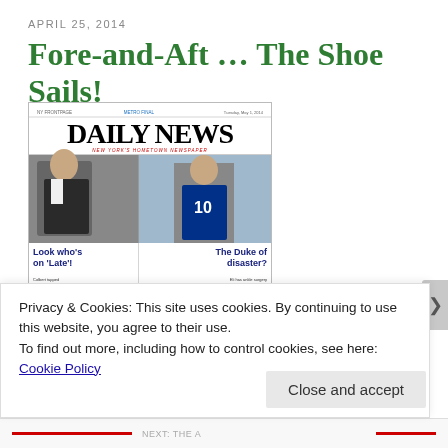APRIL 25, 2014
Fore-and-Aft … The Shoe Sails!
[Figure (photo): A New York Daily News newspaper front page showing headlines 'Look who's on Late!' about Colbert replacing Letterman, 'The Duke of disaster?' about Eli's ankle surgery, and 'Déjà' with a photo of a woman ducking]
Privacy & Cookies: This site uses cookies. By continuing to use this website, you agree to their use.
To find out more, including how to control cookies, see here: Cookie Policy
Close and accept